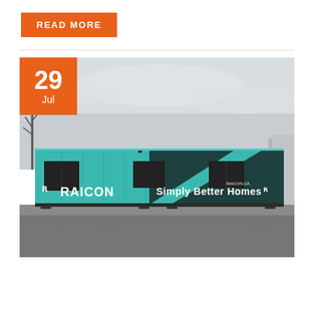READ MORE
[Figure (photo): A teal shipping container home with RAICON branding and the tagline 'Simply Better Homes' on the side, parked on a gravel lot under a cloudy sky. An orange date badge showing '29 Jul' is overlaid in the top-left corner.]